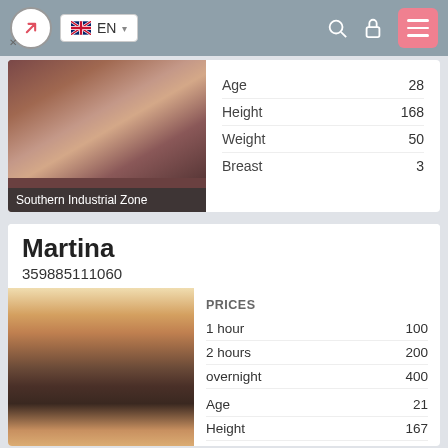EN
Southern Industrial Zone
Age 28
Height 168
Weight 50
Breast 3
Martina
359885111060
|  |  |
| --- | --- |
| PRICES |  |
| 1 hour | 100 |
| 2 hours | 200 |
| overnight | 400 |
| Age | 21 |
| Height | 167 |
| Weight | 57 |